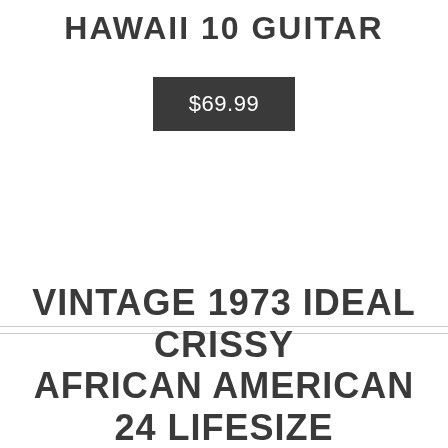HAWAII 10 GUITAR
$69.99
VINTAGE 1973 IDEAL CRISSY AFRICAN AMERICAN 24 LIFESIZE